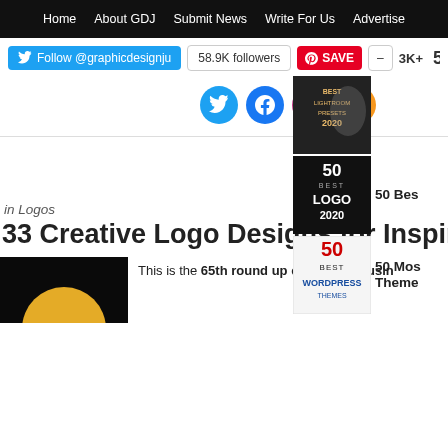Home | About GDJ | Submit News | Write For Us | Advertise
Follow @graphicdesignju | 58.9K followers | SAVE | 3K+
[Figure (screenshot): Social media icons: Twitter, Facebook, Instagram, RSS feed]
[Figure (screenshot): Best Lightroom Presets 2020 thumbnail]
50 Des
[Figure (screenshot): 50 Best Logo 2020 thumbnail]
50 Bes
[Figure (screenshot): 50 Best WordPress Themes thumbnail]
50 Mos Theme
in Logos
33 Creative Logo Designs for Inspiration #
This is the 65th round up of Creative Busin